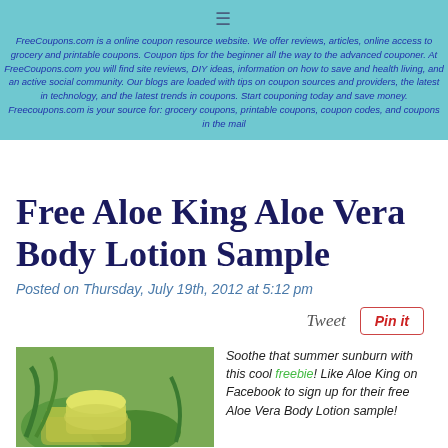FreeCoupons.com is a online coupon resource website. We offer reviews, articles, online access to grocery and printable coupons. Coupon tips for the beginner all the way to the advanced couponer. At FreeCoupons.com you will find site reviews, DIY ideas, information on how to save and health living, and an active social community. Our blogs are loaded with tips on coupon sources and providers, the latest in technology, and the latest trends in coupons. Start couponing today and save money. Freecoupons.com is your source for: grocery coupons, printable coupons, coupon codes, and coupons in the mail
Free Aloe King Aloe Vera Body Lotion Sample
Posted on Thursday, July 19th, 2012 at 5:12 pm
Tweet
[Figure (photo): Photo of aloe vera plant and lotion containers]
Soothe that summer sunburn with this cool freebie! Like Aloe King on Facebook to sign up for their free Aloe Vera Body Lotion sample!